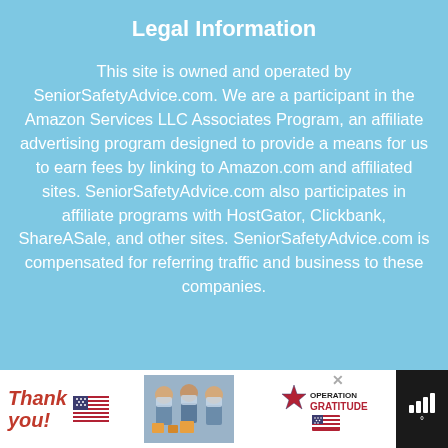Legal Information
This site is owned and operated by SeniorSafetyAdvice.com. We are a participant in the Amazon Services LLC Associates Program, an affiliate advertising program designed to provide a means for us to earn fees by linking to Amazon.com and affiliated sites. SeniorSafetyAdvice.com also participates in affiliate programs with HostGator, Clickbank, ShareASale, and other sites. SeniorSafetyAdvice.com is compensated for referring traffic and business to these companies.
[Figure (infographic): Advertisement banner at bottom: Thank you text with US flag graphic, photo of three people in masks holding boxes, Operation Gratitude logo with star and flag, close button, and weather widget showing signal bars and degree symbol]